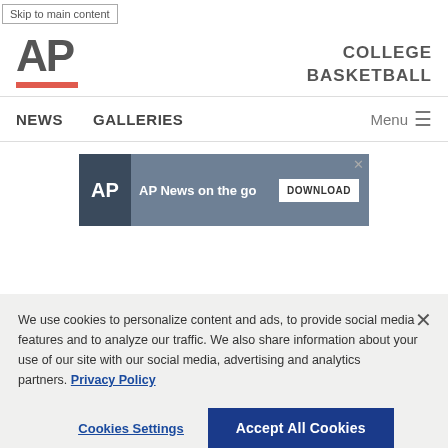Skip to main content
[Figure (logo): AP Associated Press logo with red underline bar]
COLLEGE BASKETBALL
NEWS   GALLERIES   Menu
[Figure (screenshot): AP News on the go — DOWNLOAD app advertisement banner with silhouetted journalists in background]
We use cookies to personalize content and ads, to provide social media features and to analyze our traffic. We also share information about your use of our site with our social media, advertising and analytics partners. Privacy Policy
Cookies Settings   Accept All Cookies